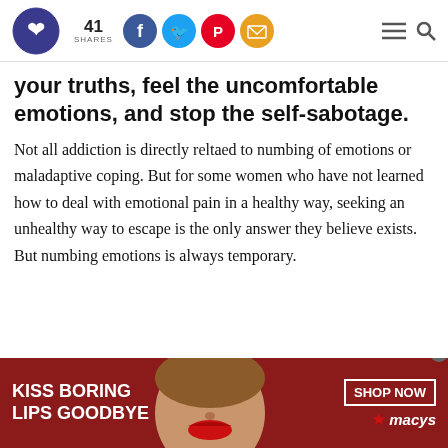41 SHARES [social icons: Facebook, Twitter, Pinterest, Email] [menu icon] [search icon]
your truths, feel the uncomfortable emotions, and stop the self-sabotage.
Not all addiction is directly reltaed to numbing of emotions or maladaptive coping. But for some women who have not learned how to deal with emotional pain in a healthy way, seeking an unhealthy way to escape is the only answer they believe exists. But numbing emotions is always temporary.
[Figure (infographic): Advertisement banner: dark red background, text 'KISS BORING LIPS GOODBYE', woman's face with red lips in center, 'SHOP NOW' button, Macy's star logo]